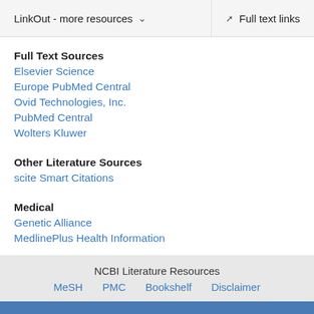LinkOut - more resources   Full text links
Full Text Sources
Elsevier Science
Europe PubMed Central
Ovid Technologies, Inc.
PubMed Central
Wolters Kluwer
Other Literature Sources
scite Smart Citations
Medical
Genetic Alliance
MedlinePlus Health Information
NCBI Literature Resources  MeSH  PMC  Bookshelf  Disclaimer